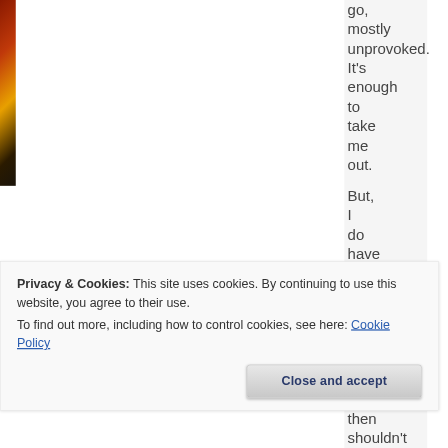[Figure (photo): Colorful stained glass or mosaic artwork with reds, yellows, oranges, blacks visible on left side and right edge of the page]
go, mostly unprovoked. It's enough to take me out.
But, I do have a question. If I'm
Privacy & Cookies: This site uses cookies. By continuing to use this website, you agree to their use.
To find out more, including how to control cookies, see here: Cookie Policy
Close and accept
then shouldn't